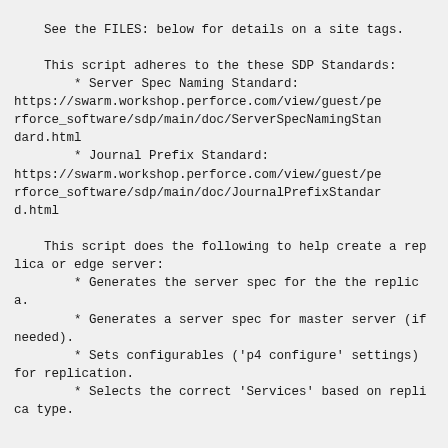See the FILES: below for details on a site tags.

    This script adheres to the these SDP Standards:
        * Server Spec Naming Standard: https://swarm.workshop.perforce.com/view/guest/perforce_software/sdp/main/doc/ServerSpecNamingStandard.html
        * Journal Prefix Standard: https://swarm.workshop.perforce.com/view/guest/perforce_software/sdp/main/doc/JournalPrefixStandard.html

    This script does the following to help create a replica or edge server:
        * Generates the server spec for the the replica.
        * Generates a server spec for master server (if needed).
        * Sets configurables ('p4 configure' settings) for replication.
        * Selects the correct 'Services' based on replica type.